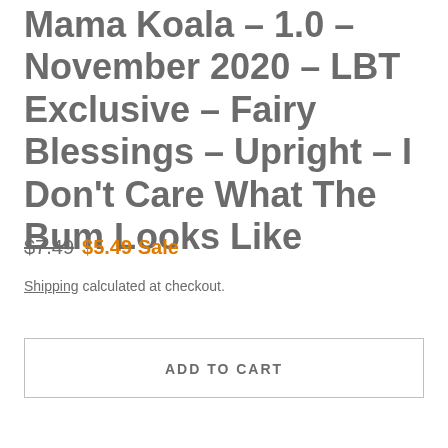Mama Koala - 1.0 - November 2020 - LBT Exclusive - Fairy Blessings - Upright - I Don't Care What The Bum Looks Like
$7.49  $5.49 Sale
Shipping calculated at checkout.
ADD TO CART